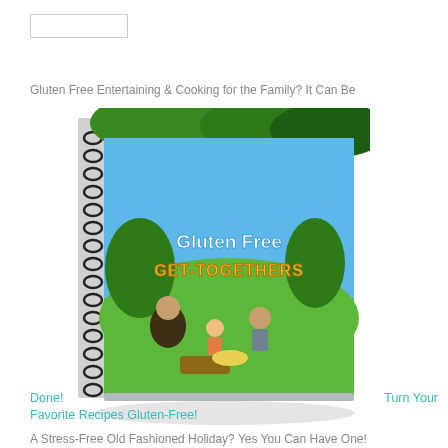[Figure (other): Empty white input/search box outline]
Gluten Free Entertaining & Cooking for the Family? It Can Be
[Figure (illustration): Book cover of 'Gluten Free Get-Togethers' showing a spiral-bound cookbook with a family having a picnic outdoors under trees on a green lawn, with blue sky background. The title 'Gluten Free GET-TOGETHERS' is displayed prominently on the cover.]
Done!                                                                Turn Your Favorite Recipes Gluten-Free!
A Stress-Free Old Fashioned Holiday? Yes You Can Have One!